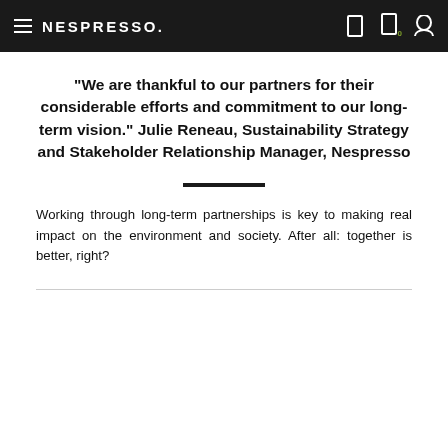NESPRESSO
"We are thankful to our partners for their considerable efforts and commitment to our long-term vision." Julie Reneau, Sustainability Strategy and Stakeholder Relationship Manager, Nespresso
Working through long-term partnerships is key to making real impact on the environment and society. After all: together is better, right?